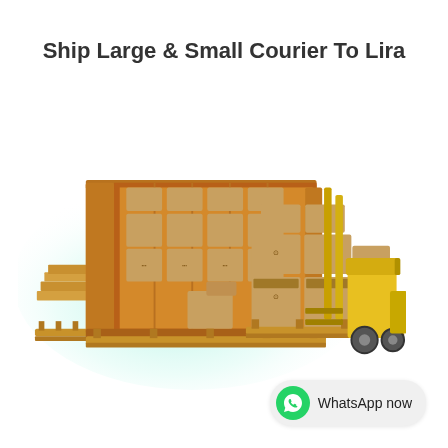Ship Large & Small Courier To Lira
[Figure (illustration): A shipping container open at the front filled with cardboard boxes, with a yellow forklift on the right holding stacked boxes on a pallet, set against a soft teal/green radial background glow.]
WhatsApp now